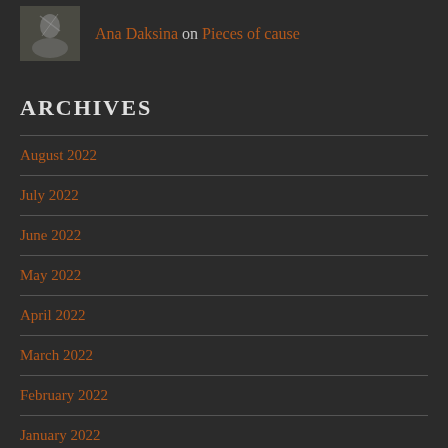Ana Daksina on Pieces of cause
ARCHIVES
August 2022
July 2022
June 2022
May 2022
April 2022
March 2022
February 2022
January 2022